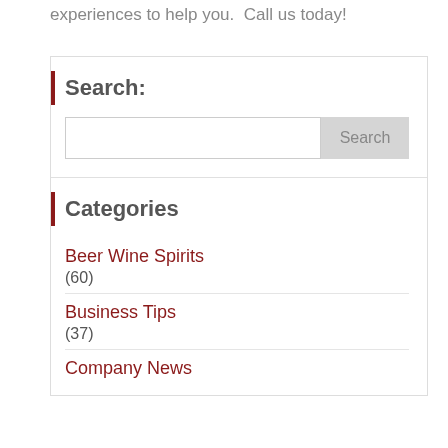experiences to help you.  Call us today!
Search:
[Figure (screenshot): Search input box with a Search button]
Categories
Beer Wine Spirits (60)
Business Tips (37)
Company News